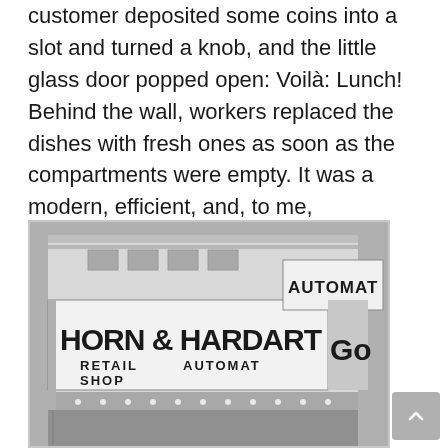customer deposited some coins into a slot and turned a knob, and the little glass door popped open: Voilà: Lunch! Behind the wall, workers replaced the dishes with fresh ones as soon as the compartments were empty. It was a modern, efficient, and, to me, fascinating way to get a meal.
[Figure (photo): Black and white photograph of the exterior of a Horn & Hardart Automat restaurant, showing large signage reading 'HORN & HARDART RETAIL SHOP AUTOMAT' and a projecting sign reading 'AUTOMAT']